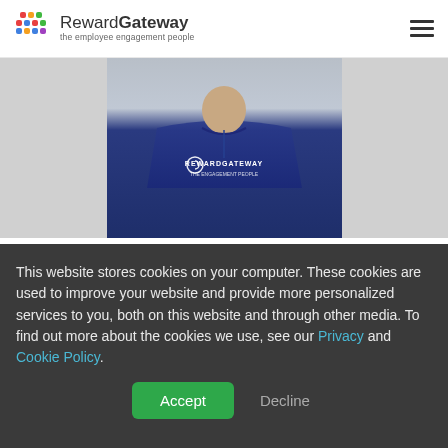RewardGateway – the employee engagement people
[Figure (photo): Person wearing a blue RewardGateway branded cycling/polo shirt, photo cropped to show torso]
Catrin Lewis, Internal Communications Manager
I've tried a couple of different collaboration and project management tools from more sophisticated
This website stores cookies on your computer. These cookies are used to improve your website and provide more personalized services to you, both on this website and through other media. To find out more about the cookies we use, see our Privacy and Cookie Policy.